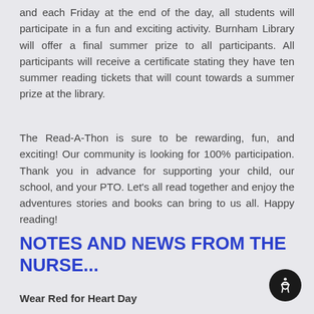and each Friday at the end of the day, all students will participate in a fun and exciting activity. Burnham Library will offer a final summer prize to all participants. All participants will receive a certificate stating they have ten summer reading tickets that will count towards a summer prize at the library.
The Read-A-Thon is sure to be rewarding, fun, and exciting! Our community is looking for 100% participation. Thank you in advance for supporting your child, our school, and your PTO. Let's all read together and enjoy the adventures stories and books can bring to us all. Happy reading!
NOTES AND NEWS FROM THE NURSE...
Wear Red for Heart Day